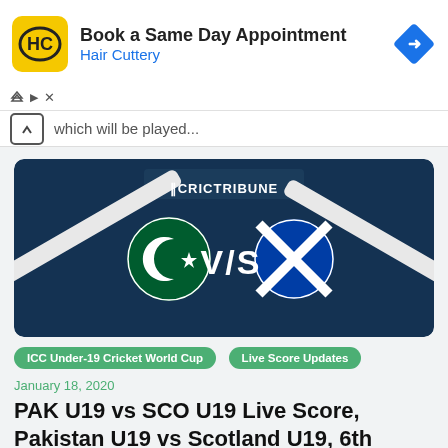[Figure (logo): Hair Cuttery advertisement banner with HC logo on yellow background, text 'Book a Same Day Appointment' and 'Hair Cuttery' in blue, with a blue diamond navigation icon on the right]
which will be played...
[Figure (illustration): CricTribune match graphic showing Pakistan flag circle vs Scotland flag circle with V/S text in the middle on a dark blue background with cricket bats]
ICC Under-19 Cricket World Cup
Live Score Updates
January 18, 2020
PAK U19 vs SCO U19 Live Score, Pakistan U19 vs Scotland U19, 6th Match Live